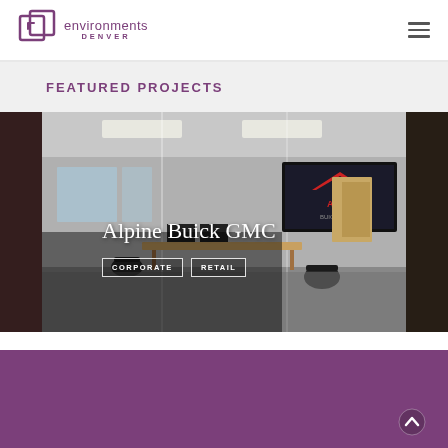environments DENVER
FEATURED PROJECTS
[Figure (photo): Interior photo of Alpine Buick GMC office/showroom with glass walls, conference table, chairs, computers, and a large screen showing Alpine logo on the wall. Overlaid text reads 'Alpine Buick GMC' with tags 'CORPORATE' and 'RETAIL'.]
[Figure (other): Purple/magenta solid color footer band at the bottom of the page]